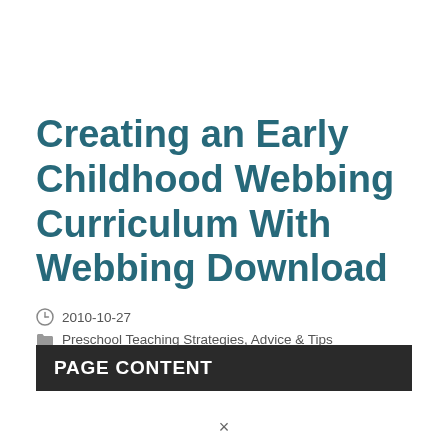Creating an Early Childhood Webbing Curriculum With Webbing Download
2010-10-27
Preschool Teaching Strategies, Advice & Tips
PAGE CONTENT